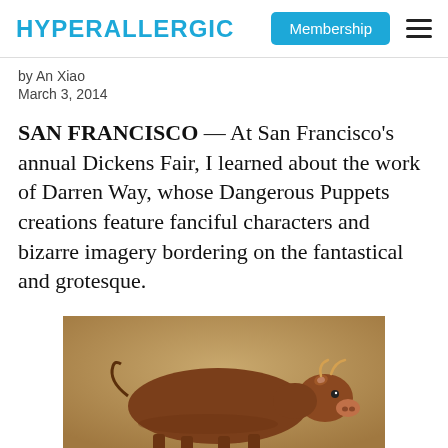HYPERALLERGIC | Membership
by An Xiao
March 3, 2014
SAN FRANCISCO — At San Francisco's annual Dickens Fair, I learned about the work of Darren Way, whose Dangerous Puppets creations feature fanciful characters and bizarre imagery bordering on the fantastical and grotesque.
[Figure (photo): A brown bull or cow standing, photographed against a neutral beige background, viewed from the side with its head turned toward the viewer.]